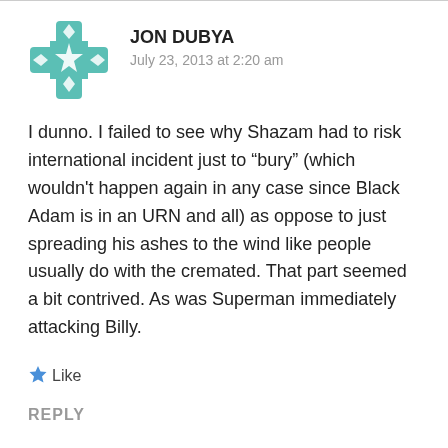[Figure (illustration): Teal/green decorative avatar icon with geometric star and diamond pattern in a cross/flower shape]
JON DUBYA
July 23, 2013 at 2:20 am
I dunno. I failed to see why Shazam had to risk international incident just to “bury” (which wouldn't happen again in any case since Black Adam is in an URN and all) as oppose to just spreading his ashes to the wind like people usually do with the cremated. That part seemed a bit contrived. As was Superman immediately attacking Billy.
Like
REPLY